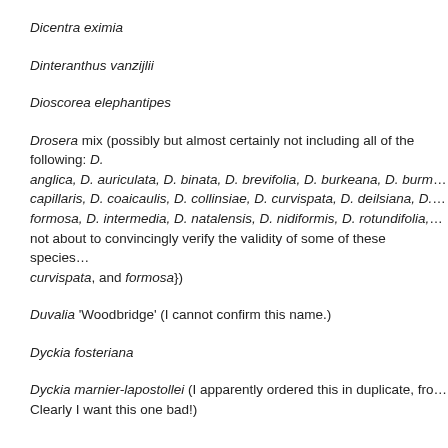Dicentra eximia
Dinteranthus vanzijlii
Dioscorea elephantipes
Drosera mix (possibly but almost certainly not including all of the following: D. anglica, D. auriculata, D. binata, D. brevifolia, D. burkeana, D. burm..., D. capillaris, D. coaicaulis, D. collinsiae, D. curvispata, D. deilsiana, D. ... D. formosa, D. intermedia, D. natalensis, D. nidiformis, D. rotundifolia, ...  not about to convincingly verify the validity of some of these species... curvispata, and formosa})
Duvalia 'Woodbridge' (I cannot confirm this name.)
Dyckia fosteriana
Dyckia marnier-lapostollei (I apparently ordered this in duplicate, from... Clearly I want this one bad!)